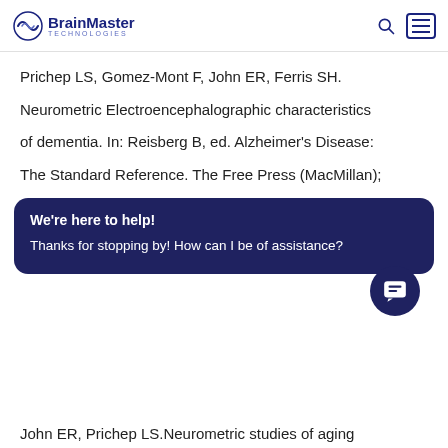BrainMaster Technologies
Prichep LS, Gomez-Mont F, John ER, Ferris SH.
Neurometric Electroencephalographic characteristics of dementia. In: Reisberg B, ed. Alzheimer's Disease: The Standard Reference. The Free Press (MacMillan);
We're here to help! Thanks for stopping by! How can I be of assistance?
John ER, Prichep LS.Neurometric studies of aging